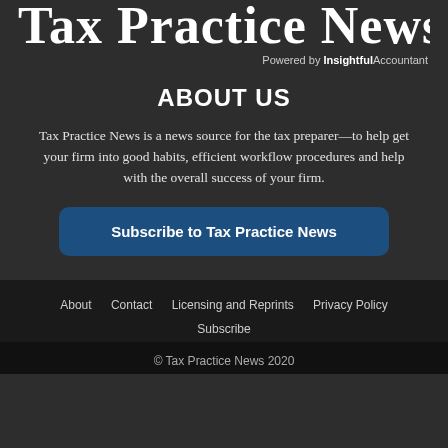Tax Practice News
Powered by InsightfulAccountant
ABOUT US
Tax Practice News is a news source for the tax preparer—to help get your firm into good habits, efficient workflow procedures and help with the overall success of your firm.
Subscribe to Tax Practice News
About   Contact   Licensing and Reprints   Privacy Policy   Subscribe
© Tax Practice News 2020